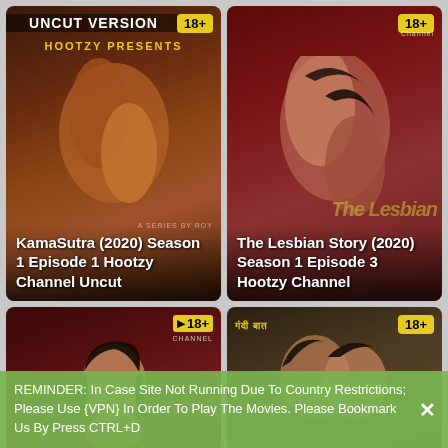[Figure (screenshot): Video thumbnail for KamaSutra (2020) Season 1 Episode 1 Hootzy Channel Uncut with 18+ badge and UNCUT VERSION banner]
KamaSutra (2020) Season 1 Episode 1 Hootzy Channel Uncut
[Figure (screenshot): Video thumbnail for The Lesbian Story (2020) Season 1 Episode 3 Hootzy Channel with 18+ badge]
The Lesbian Story (2020) Season 1 Episode 3 Hootzy Channel
[Figure (screenshot): Video thumbnail bottom left with 18+ badge and channel logo]
[Figure (screenshot): Video thumbnail bottom right with 18+ badge]
REMINDER: In Case Site Not Running Due To Country Restrictions; Please Use {VPN} In Order To Play The Movies. Please Bookmark Us By Press CTRL+D